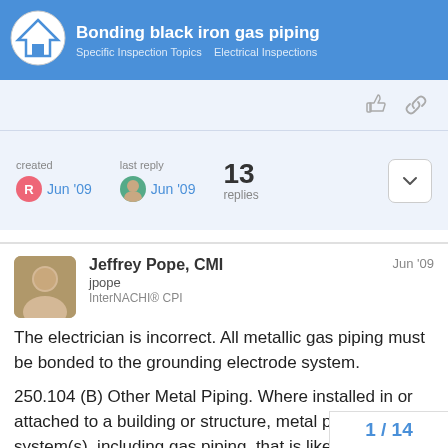Bonding black iron gas piping — Specific Inspection Topics > Electrical Inspections
created Jun '09   last reply Jun '09   13 replies
Jeffrey Pope, CMI
jpope
InterNACHI® CPI
Jun '09
The electrician is incorrect. All metallic gas piping must be bonded to the grounding electrode system.
250.104 (B) Other Metal Piping. Where installed in or attached to a building or structure, metal piping system(s), including gas piping, that is likely to become energized shall be bonded to the service equipment enclosure, the grounded conductor at the service, the grounding electrode conductor where of sufficient size, or to the one or more grounding elec
1 / 14